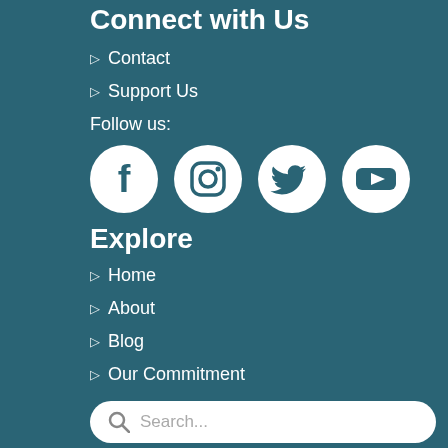Connect with Us
▷ Contact
▷ Support Us
Follow us:
[Figure (illustration): Four social media icons in white circles on teal background: Facebook, Instagram, Twitter, YouTube]
Explore
▷ Home
▷ About
▷ Blog
▷ Our Commitment
Search...